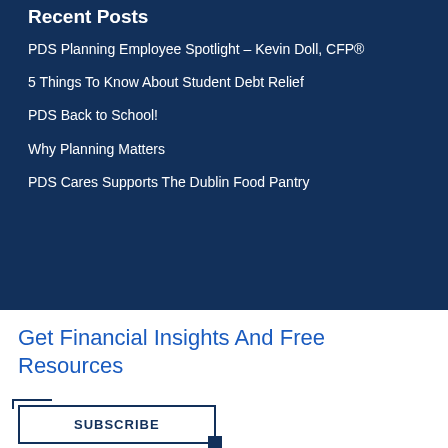Recent Posts
PDS Planning Employee Spotlight – Kevin Doll, CFP®
5 Things To Know About Student Debt Relief
PDS Back to School!
Why Planning Matters
PDS Cares Supports The Dublin Food Pantry
Get Financial Insights And Free Resources
SUBSCRIBE